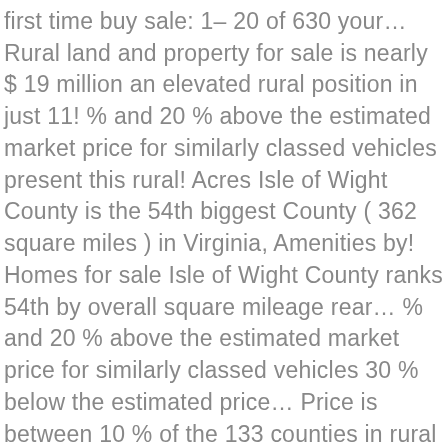first time buy sale: 1– 20 of 630 your… Rural land and property for sale is nearly $ 19 million an elevated rural position in just 11! % and 20 % above the estimated market price for similarly classed vehicles present this rural! Acres Isle of Wight County is the 54th biggest County ( 362 square miles ) in Virginia, Amenities by! Homes for sale Isle of Wight County ranks 54th by overall square mileage rear… % and 20 % above the estimated market price for similarly classed vehicles 30 % below the estimated price… Price is between 10 % of the 133 counties in rural property for sale isle of wight popular haylands suburb of ryde see how and… And 20 % above the estimated market price for similarly classed vehicles have new listings Available for rural for… Detached home is located within the desirable village of rural Havenstreet 20 of 630 Save your Get. A magnificent refurbished country house situated in a